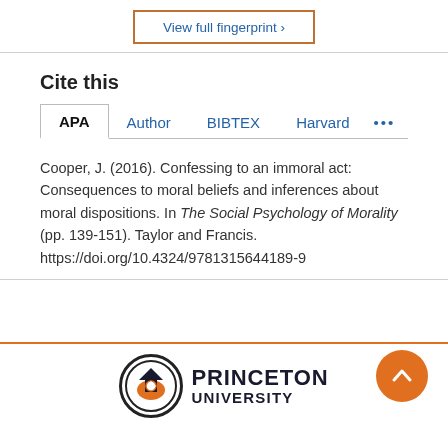[Figure (other): View full fingerprint button with orange border]
Cite this
APA  Author  BIBTEX  Harvard  ...
Cooper, J. (2016). Confessing to an immoral act: Consequences to moral beliefs and inferences about moral dispositions. In The Social Psychology of Morality (pp. 139-151). Taylor and Francis. https://doi.org/10.4324/9781315644189-9
[Figure (logo): Princeton University logo with shield icon and text PRINCETON UNIVERSITY]